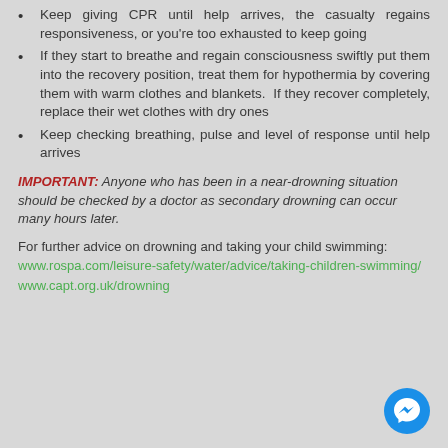Keep giving CPR until help arrives, the casualty regains responsiveness, or you're too exhausted to keep going
If they start to breathe and regain consciousness swiftly put them into the recovery position, treat them for hypothermia by covering them with warm clothes and blankets. If they recover completely, replace their wet clothes with dry ones
Keep checking breathing, pulse and level of response until help arrives
IMPORTANT: Anyone who has been in a near-drowning situation should be checked by a doctor as secondary drowning can occur many hours later.
For further advice on drowning and taking your child swimming: www.rospa.com/leisure-safety/water/advice/taking-children-swimming/ www.capt.org.uk/drowning